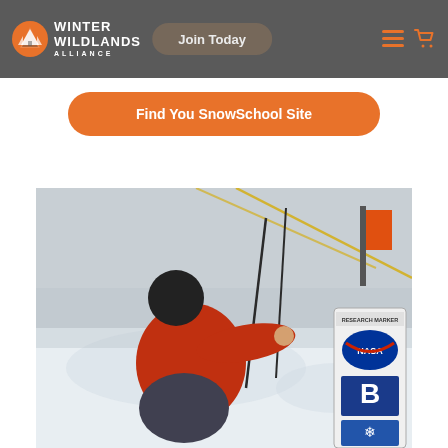Winter Wildlands Alliance — Navigation bar with Join Today button
Find You SnowSchool Site
[Figure (photo): A person in a red jacket and black helmet kneeling in the snow next to a NASA research marker sign, conducting snow research in a winter outdoor setting.]